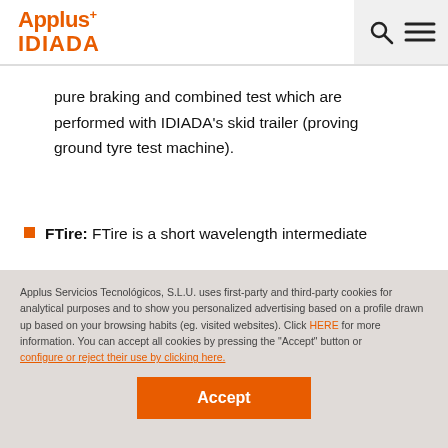Applus+ IDIADA
pure braking and combined test which are performed with IDIADA's skid trailer (proving ground tyre test machine).
FTire: FTire is a short wavelength intermediate
Applus Servicios Tecnológicos, S.L.U. uses first-party and third-party cookies for analytical purposes and to show you personalized advertising based on a profile drawn up based on your browsing habits (eg. visited websites). Click HERE for more information. You can accept all cookies by pressing the "Accept" button or configure or reject their use by clicking here.
Accept